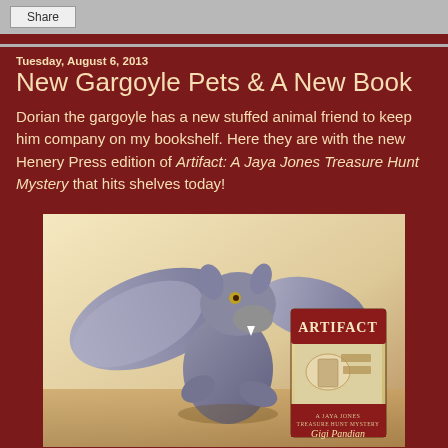Share
Tuesday, August 6, 2013
New Gargoyle Pets & A New Book
Dorian the gargoyle has a new stuffed animal friend to keep him company on my bookshelf. Here they are with the new Henery Press edition of Artifact: A Jaya Jones Treasure Hunt Mystery that hits shelves today!
[Figure (photo): A grey gargoyle stuffed animal toy sitting next to a copy of the book 'Artifact: A Jaya Jones Treasure Hunt Mystery' by Gigi Pandian. The gargoyle plush has bat-like wings, fangs, and a dog-like face. The book cover features a red banner with the author's name.]